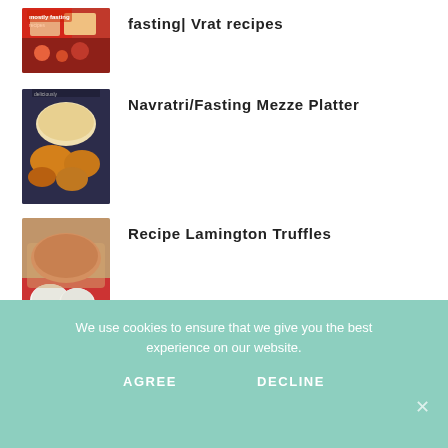fasting| Vrat recipes
Navratri/Fasting Mezze Platter
Recipe Lamington Truffles
We use cookies to ensure that we give you the best experience on our website.
AGREE   DECLINE